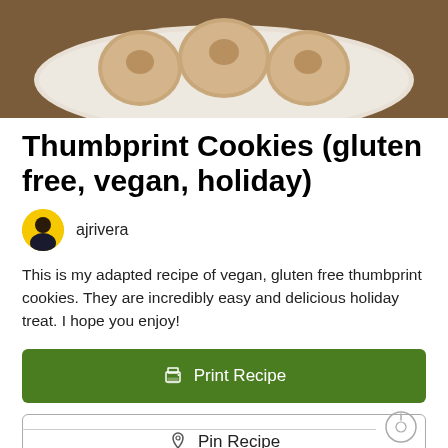[Figure (photo): Photo of thumbprint cookies on a white plate against a dark background, partially cropped at top]
Thumbprint Cookies (gluten free, vegan, holiday)
ajrivera
This is my adapted recipe of vegan, gluten free thumbprint cookies. They are incredibly easy and delicious holiday treat. I hope you enjoy!
Print Recipe
Pin Recipe